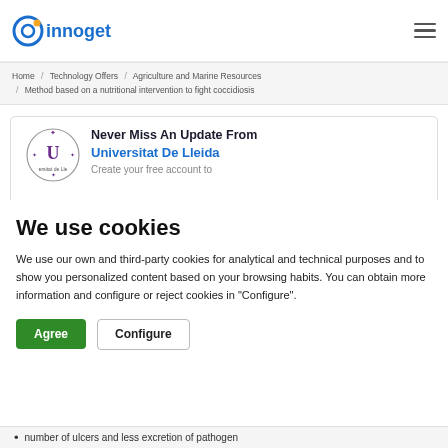[Figure (logo): Innoget logo — blue circle icon with orange dot and 'innoget' text in blue]
Home / Technology Offers / Agriculture and Marine Resources / Method based on a nutritional intervention to fight coccidiosis
[Figure (logo): Universitat de Lleida circular logo with stylized U and stars]
Never Miss An Update From Universitat De Lleida
Create your free account to
We use cookies
We use our own and third-party cookies for analytical and technical purposes and to show you personalized content based on your browsing habits. You can obtain more information and configure or reject cookies in "Configure".
Agree   Configure
number of ulcers and less excretion of pathogen